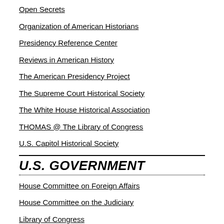Open Secrets
Organization of American Historians
Presidency Reference Center
Reviews in American History
The American Presidency Project
The Supreme Court Historical Society
The White House Historical Association
THOMAS @ The Library of Congress
U.S. Capitol Historical Society
U.S. GOVERNMENT
House Committee on Foreign Affairs
House Committee on the Judiciary
Library of Congress
National Archives